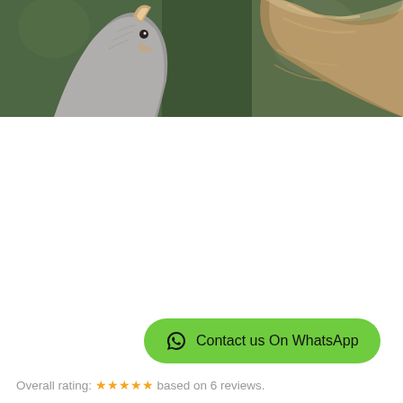[Figure (photo): Close-up photo of a squirrel's head and fluffy tail against a green blurred background. The squirrel has gray and brown fur, visible ear, and a bushy tail on the right side.]
Contact us On WhatsApp
Overall rating: ★★★★★ based on 6 reviews.